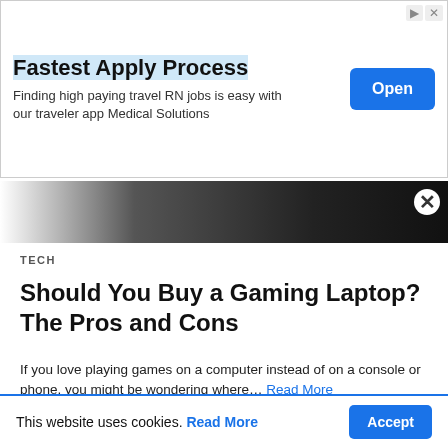[Figure (screenshot): Advertisement banner: 'Fastest Apply Process' with subtitle 'Finding high paying travel RN jobs is easy with our traveler app Medical Solutions' and an 'Open' button]
[Figure (photo): Dark gradient advertisement image banner with close X button]
TECH
Should You Buy a Gaming Laptop? The Pros and Cons
If you love playing games on a computer instead of on a console or phone, you might be wondering where… Read More
3 weeks ago
[Figure (photo): Photo of a teal/green Motorola smartphone showing the time 11:35 on screen]
This website uses cookies. Read More Accept